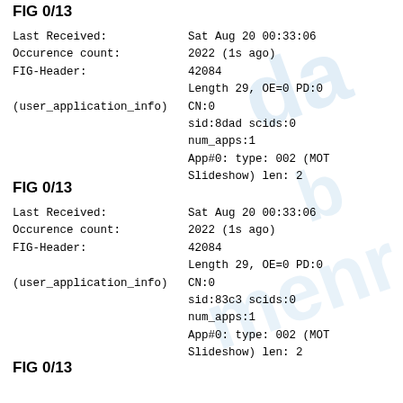FIG 0/13
| Last Received: | Sat Aug 20 00:33:06 2022 (1s ago) |
| Occurence count: | 42084 |
| FIG-Header: | Length 29, OE=0 PD:0 CN:0 |
| (user_application_info) | sid:8dad scids:0 num_apps:1 |
|  | App#0: type: 002 (MOT Slideshow) len: 2 |
FIG 0/13
| Last Received: | Sat Aug 20 00:33:06 2022 (1s ago) |
| Occurence count: | 42084 |
| FIG-Header: | Length 29, OE=0 PD:0 CN:0 |
| (user_application_info) | sid:83c3 scids:0 num_apps:1 |
|  | App#0: type: 002 (MOT Slideshow) len: 2 |
FIG 0/13